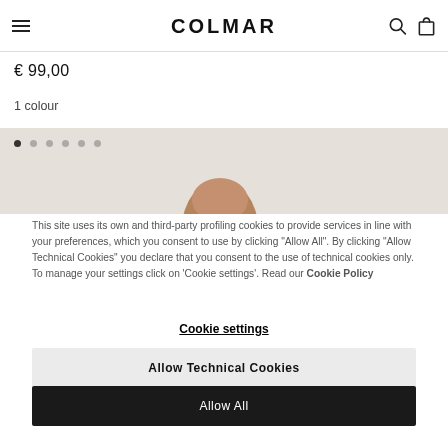COLMAR
€ 99,00
1 colour
[Figure (photo): Product image carousel with 6 navigation dots and partial model head visible against beige background]
This site uses its own and third-party profiling cookies to provide services in line with your preferences, which you consent to use by clicking "Allow All". By clicking "Allow Technical Cookies" you declare that you consent to the use of technical cookies only. To manage your settings click on 'Cookie settings'. Read our Cookie Policy
Cookie settings
Allow Technical Cookies
Allow All